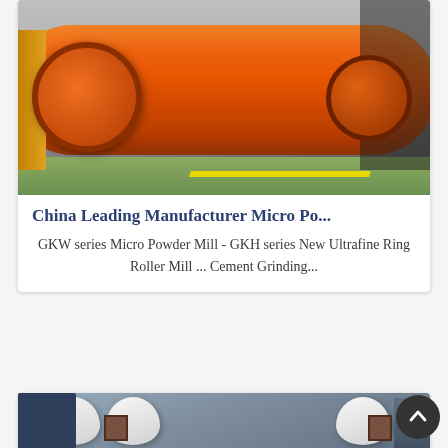[Figure (photo): Orange ball mill / grinding mill cylinder in an industrial factory setting, with green floor and grey walls]
China Leading Manufacturer Micro Po...
GKW series Micro Powder Mill - GKH series New Ultrafine Ring Roller Mill ... Cement Grinding...
[Figure (photo): White industrial blower/fan units in a factory, with rectangular inlets, multiple units side by side]